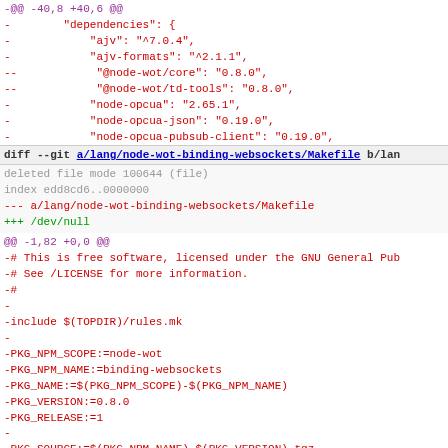-@@ -40,8 +40,6 @@
-        "dependencies": {
-            "ajv": "^7.0.4",
-            "ajv-formats": "^2.1.1",
--            "@node-wot/core": "0.8.0",
--            "@node-wot/td-tools": "0.8.0",
-            "node-opcua": "2.65.1",
-            "node-opcua-json": "0.19.0",
-            "node-opcua-pubsub-client": "0.19.0",
diff --git a/lang/node-wot-binding-websockets/Makefile b/lang/...
deleted file mode 100644 (file)
index edd8cd6..0000000
--- a/lang/node-wot-binding-websockets/Makefile
+++ /dev/null
@@ -1,82 +0,0 @@
-# This is free software, licensed under the GNU General Pub
-# See /LICENSE for more information.
-#
-
-include $(TOPDIR)/rules.mk
-
-PKG_NPM_SCOPE:=node-wot
-PKG_NPM_NAME:=binding-websockets
-PKG_NAME:=$(PKG_NPM_SCOPE)-$(PKG_NPM_NAME)
-PKG_VERSION:=0.8.0
-PKG_RELEASE:=1
-
-PKG_SOURCE:=$(PKG_NPM_NAME)-$(PKG_VERSION).tgz
-PKG_SOURCE_URL:=https://registry.npmjs.org/@$(PKG_NPM_SCOPE
-PKG_HASH:=28104a42da5ac78e0d43d490a0a58092c971831c0ebe6269c